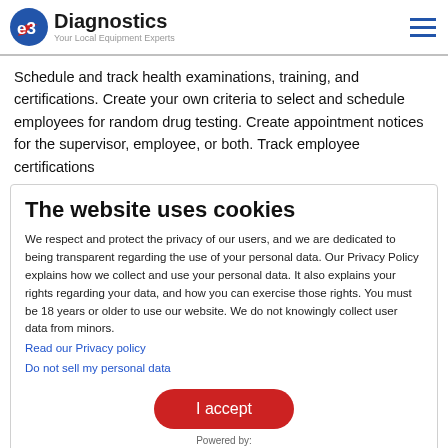e3 Diagnostics — Your Local Equipment Experts
Schedule and track health examinations, training, and certifications. Create your own criteria to select and schedule employees for random drug testing. Create appointment notices for the supervisor, employee, or both. Track employee certifications
The website uses cookies
We respect and protect the privacy of our users, and we are dedicated to being transparent regarding the use of your personal data. Our Privacy Policy explains how we collect and use your personal data. It also explains your rights regarding your data, and how you can exercise those rights. You must be 18 years or older to use our website. We do not knowingly collect user data from minors.
Read our Privacy policy
Do not sell my personal data
[Figure (other): Red rounded rectangle button labeled 'I accept']
Powered by:
Cookie Information
FMLA tracking software